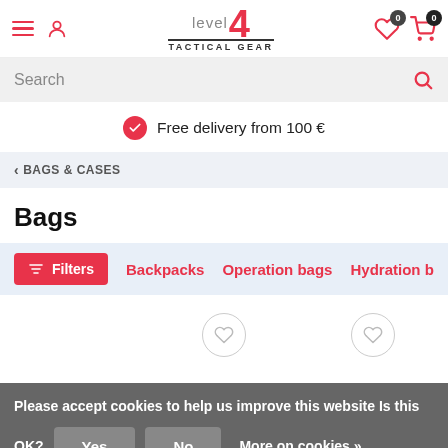Level 4 Tactical Gear — header with menu, user icon, logo, wishlist (0), cart (0)
Search
Free delivery from 100 €
< BAGS & CASES
Bags
Filters | Backpacks | Operation bags | Hydration b…
[Figure (other): Two product wishlist heart buttons visible on product grid]
Please accept cookies to help us improve this website Is this OK? Yes  No  More on cookies »
Fast-Tac 12 Backpack
Lasercut MOLLE Backpack